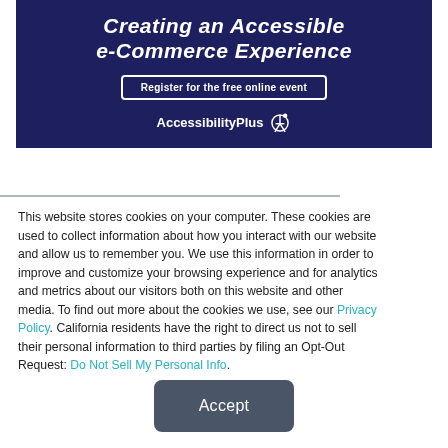[Figure (other): Dark navy blue promotional banner for an accessibility event titled 'Creating an Accessible e-Commerce Experience' with a 'Register for the free online event' button and AccessibilityPlus logo with wheelchair icon]
This website stores cookies on your computer. These cookies are used to collect information about how you interact with our website and allow us to remember you. We use this information in order to improve and customize your browsing experience and for analytics and metrics about our visitors both on this website and other media. To find out more about the cookies we use, see our Privacy Policy. California residents have the right to direct us not to sell their personal information to third parties by filing an Opt-Out Request: Do Not Sell My Personal Info.